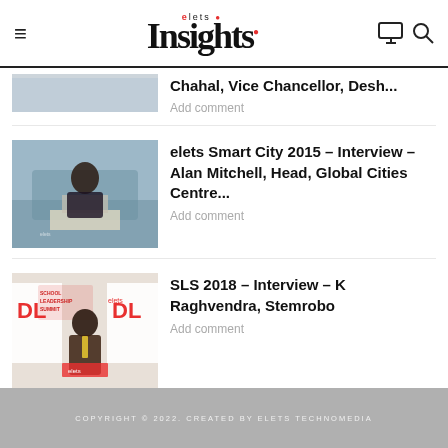elets Insights
Chahal, Vice Chancellor, Desh...
Add comment
[Figure (photo): Person speaking at a conference podium]
elets Smart City 2015 – Interview – Alan Mitchell, Head, Global Cities Centre...
Add comment
[Figure (photo): Person standing in front of School Leadership Summit banners with DL branding]
SLS 2018 – Interview – K Raghvendra, Stemrobo
Add comment
COPYRIGHT © 2022. CREATED BY ELETS TECHNOMEDIA